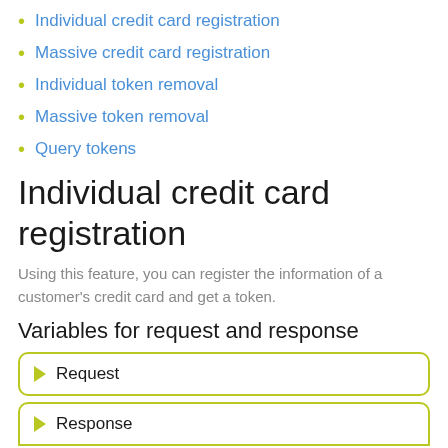Individual credit card registration
Massive credit card registration
Individual token removal
Massive token removal
Query tokens
Individual credit card registration
Using this feature, you can register the information of a customer's credit card and get a token.
Variables for request and response
Request
Response